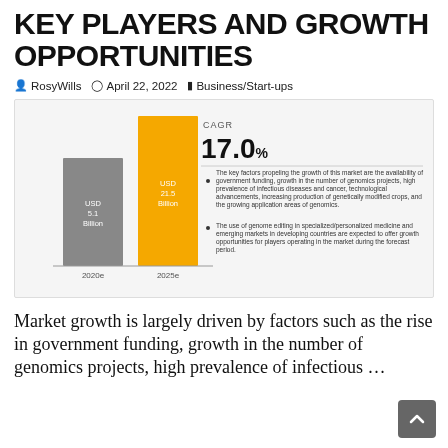KEY PLAYERS AND GROWTH OPPORTUNITIES
RosyWills   April 22, 2022   Business/Start-ups
[Figure (bar-chart): Bar chart showing genomics market size growing from USD 5.1 Billion in 2020e to USD 21.5 Billion in 2025e at a CAGR of 17.0%. Bullet points note key growth factors including government funding, genomics projects, infectious diseases and cancer, technological advancements, genetically modified crops, and genome editing in personalized medicine.]
Market growth is largely driven by factors such as the rise in government funding, growth in the number of genomics projects, high prevalence of infectious ...